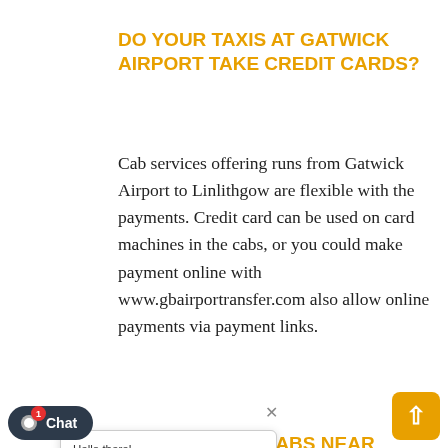DO YOUR TAXIS AT GATWICK AIRPORT TAKE CREDIT CARDS?
Cab services offering runs from Gatwick Airport to Linlithgow are flexible with the payments. Credit card can be used on card machines in the cabs, or you could make payment online with www.gbairportransfer.com also allow online payments via payment links.
...RE CABS NEAR GATWICK ...RT?
...ands are ranks outside all the ...als at Gatwick Airport. Some are ...le just outside,but taking cab at the airport will incur double the charges compare to our prebook private hire cabs